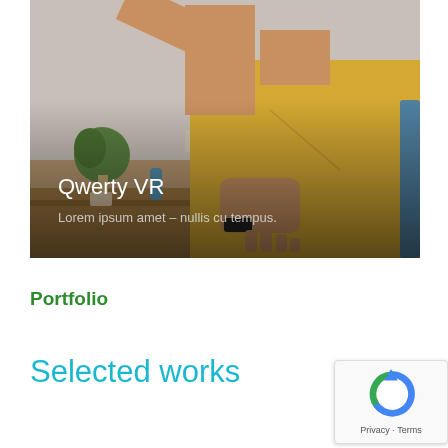[Figure (photo): Person in yellow t-shirt reaching up with one arm, set in a room with plants and shelves in background. Text overlay reads 'Qwerty VR' and 'Lorem ipsum amet – nullis cu tempus.']
Qwerty VR
Lorem ipsum amet – nullis cu tempus.
Portfolio
Selected works